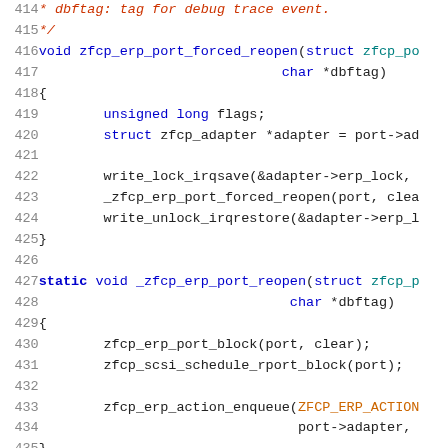[Figure (screenshot): Source code viewer showing C code lines 414-435, with syntax highlighting. Line numbers in grey on left, keywords in blue, function names in blue, strings/comments in red/orange, plain code in dark.]